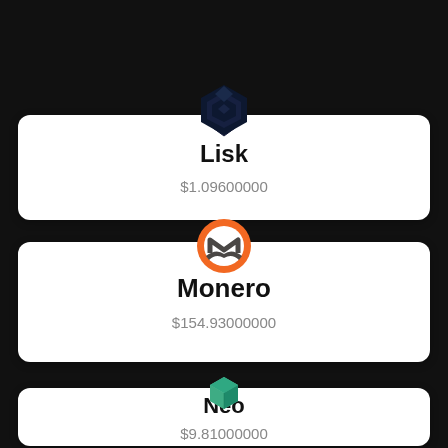[Figure (logo): Lisk cryptocurrency logo - dark blue angular diamond shape]
Lisk
$1.09600000
[Figure (logo): Monero cryptocurrency logo - orange circle with white M and dark bat-wing shape]
Monero
$154.93000000
[Figure (logo): Neo cryptocurrency logo - teal/green 3D cube shape]
Neo
$9.81000000